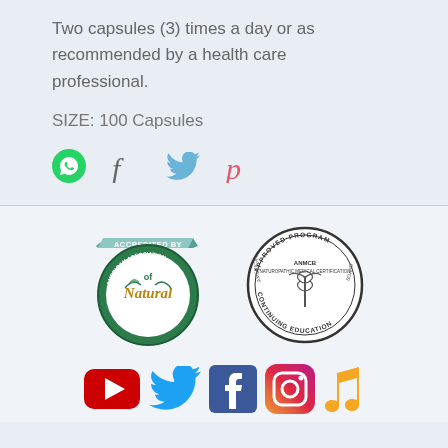Two capsules (3) times a day or as recommended by a health care professional.
SIZE: 100 Capsules
[Figure (infographic): Social share icons: WhatsApp (green circle), Facebook (f), Twitter (bird), Pinterest (p)]
[Figure (logo): Accredited By American Association of Natural Wellness Practitioners badge (circular green logo) and ANMCB Approved Program Continuing Education stamp (circular black and white)]
[Figure (infographic): Social media icons row: YouTube (red), Twitter (blue), Facebook (dark blue), Instagram (gradient), Music/iTunes (orange)]